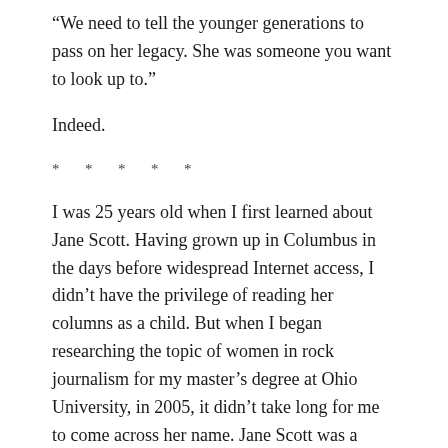“We need to tell the younger generations to pass on her legacy. She was someone you want to look up to.”
Indeed.
* * * * *
I was 25 years old when I first learned about Jane Scott. Having grown up in Columbus in the days before widespread Internet access, I didn’t have the privilege of reading her columns as a child. But when I began researching the topic of women in rock journalism for my master’s degree at Ohio University, in 2005, it didn’t take long for me to come across her name. Jane Scott was a triple threat – the first rock journalist for a daily newspaper, the first female rock journalist and, later, the oldest rock